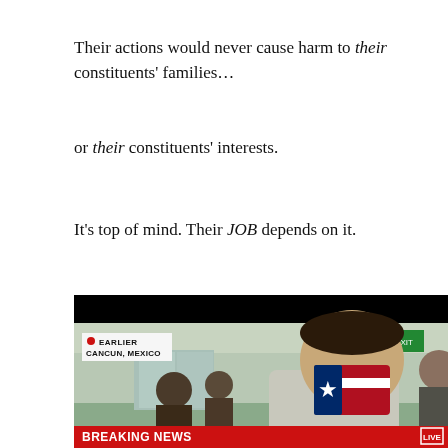Their actions would never cause harm to their constituents' families...
or their constituents' interests.
It's top of mind. Their JOB depends on it.
[Figure (screenshot): TV news screenshot showing a man wearing a Texas flag face mask at an airport. Lower third reads 'BREAKING NEWS' in red bar. Location bug shows 'EARLIER / CANCUN, MEXICO'. Live badge visible at bottom right.]